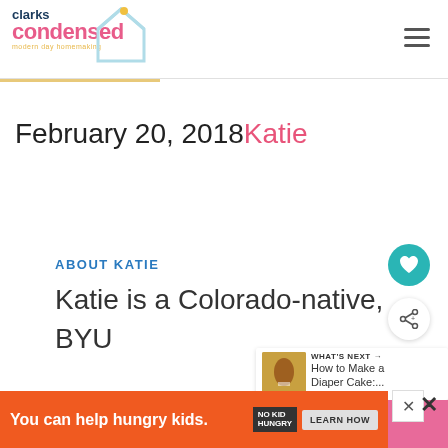clarks condensed — modern day homemaking
February 20, 2018 Katie
ABOUT KATIE
Katie is a Colorado-native, BYU graduated, and most importantly wife to one and mother to three
WHAT'S NEXT → How to Make a Diaper Cake:....
You can help hungry kids. NO KID HUNGRY LEARN HOW